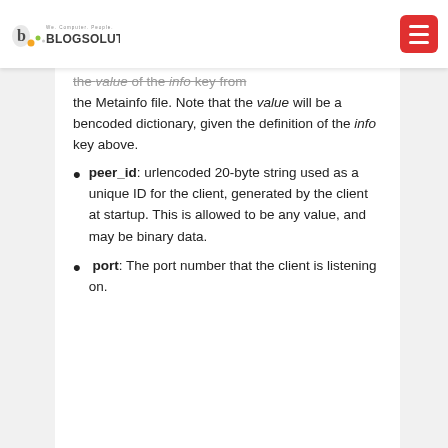Blogsolute — We. Computer. People.
the value of the info key from the Metainfo file. Note that the value will be a bencoded dictionary, given the definition of the info key above.
peer_id: urlencoded 20-byte string used as a unique ID for the client, generated by the client at startup. This is allowed to be any value, and may be binary data.
port: The port number that the client is listening on.